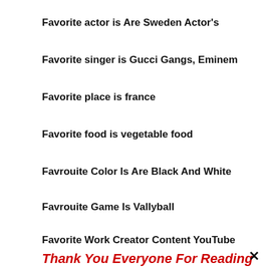Favorite actor is Are Sweden Actor's
Favorite singer is Gucci Gangs, Eminem
Favorite place is france
Favorite food is vegetable food
Favrouite Color Is Are Black And White
Favrouite Game Is Vallyball
Favorite Work Creator Content YouTube
Thank You Everyone For Reading